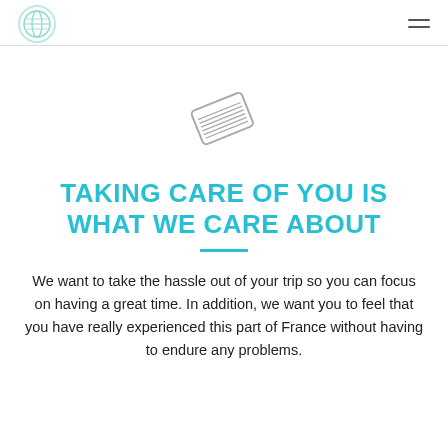[Logo] [Hamburger menu]
[Figure (illustration): A line-art icon of a credit card drawn at a slight angle, showing horizontal lines on the card face, in a light gray stroke style.]
TAKING CARE OF YOU IS WHAT WE CARE ABOUT
We want to take the hassle out of your trip so you can focus on having a great time. In addition, we want you to feel that you have really experienced this part of France without having to endure any problems.